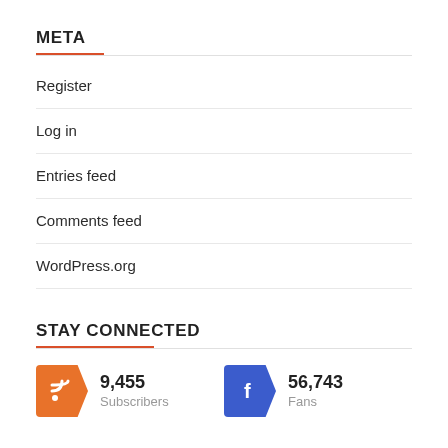META
Register
Log in
Entries feed
Comments feed
WordPress.org
STAY CONNECTED
9,455 Subscribers
56,743 Fans